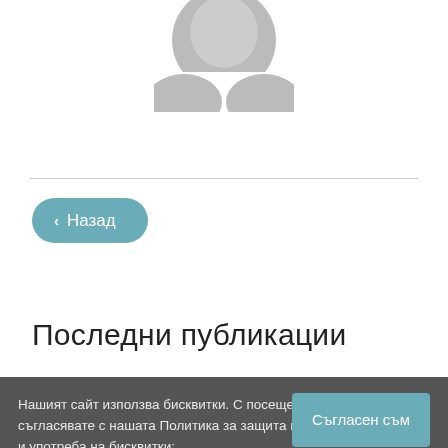[Figure (illustration): Gray placeholder avatar/profile image showing the top of a head silhouette, partially cropped at top]
< Назад
Последни публикации
Нашият сайт използва бисквитки. С посещението му се съгласявате с нашата Политика за защита на лични данни и употреба на бисквитки:
Free College Student Essays On The Great
Съгласен съм